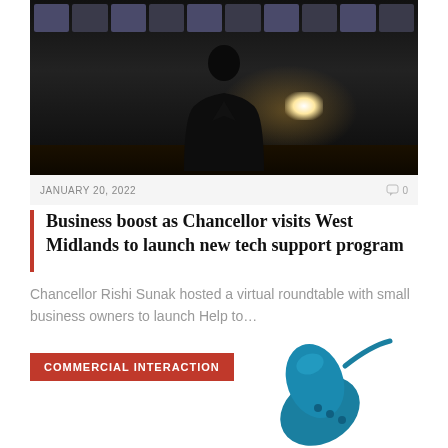[Figure (photo): Person seen from behind standing in a dark auditorium or conference hall facing a large screen showing a video grid of remote participants, with a bright light source on the right]
JANUARY 20, 2022
0
Business boost as Chancellor visits West Midlands to launch new tech support program
Chancellor Rishi Sunak hosted a virtual roundtable with small business owners to launch Help to...
COMMERCIAL INTERACTION
[Figure (illustration): Teal/blue illustration of a computer mouse]